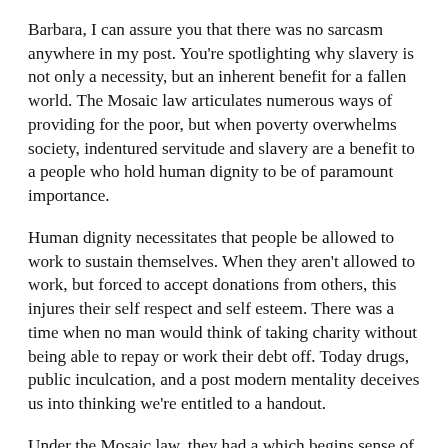Barbara, I can assure you that there was no sarcasm anywhere in my post. You're spotlighting why slavery is not only a necessity, but an inherent benefit for a fallen world. The Mosaic law articulates numerous ways of providing for the poor, but when poverty overwhelms society, indentured servitude and slavery are a benefit to a people who hold human dignity to be of paramount importance.
Human dignity necessitates that people be allowed to work to sustain themselves. When they aren't allowed to work, but forced to accept donations from others, this injures their self respect and self esteem. There was a time when no man would think of taking charity without being able to repay or work their debt off. Today drugs, public inculcation, and a post modern mentality deceives us into thinking we're entitled to a handout.
Under the Mosaic law, they had a which begins sense of...